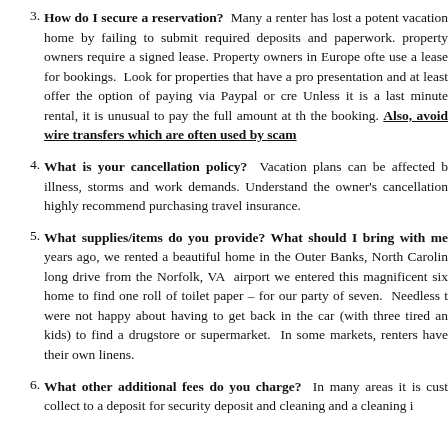3. How do I secure a reservation? Many a renter has lost a potential vacation home by failing to submit required deposits and paperwork. property owners require a signed lease. Property owners in Europe often use a lease for bookings. Look for properties that have a pro presentation and at least offer the option of paying via Paypal or cre Unless it is a last minute rental, it is unusual to pay the full amount at the booking. Also, avoid wire transfers which are often used by scam
4. What is your cancellation policy? Vacation plans can be affected by illness, storms and work demands. Understand the owner's cancellation highly recommend purchasing travel insurance.
5. What supplies/items do you provide? What should I bring with me? years ago, we rented a beautiful home in the Outer Banks, North Carolina long drive from the Norfolk, VA airport we entered this magnificent six home to find one roll of toilet paper – for our party of seven. Needless to were not happy about having to get back in the car (with three tired and kids) to find a drugstore or supermarket. In some markets, renters have their own linens.
6. What other additional fees do you charge? In many areas it is custom to collect a deposit for security deposit and cleaning and a cleaning